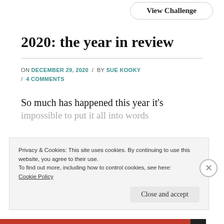View Challenge
2020: the year in review
ON DECEMBER 29, 2020 / BY SUE KOOKY / 4 COMMENTS
So much has happened this year it's impossible to put it all into words
Privacy & Cookies: This site uses cookies. By continuing to use this website, you agree to their use.
To find out more, including how to control cookies, see here:
Cookie Policy
Close and accept